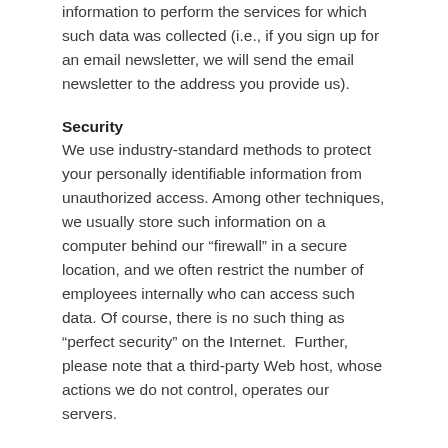information to perform the services for which such data was collected (i.e., if you sign up for an email newsletter, we will send the email newsletter to the address you provide us).
Security
We use industry-standard methods to protect your personally identifiable information from unauthorized access. Among other techniques, we usually store such information on a computer behind our “firewall” in a secure location, and we often restrict the number of employees internally who can access such data. Of course, there is no such thing as “perfect security” on the Internet.  Further, please note that a third-party Web host, whose actions we do not control, operates our servers.
Amendments to this policy will be posted at this